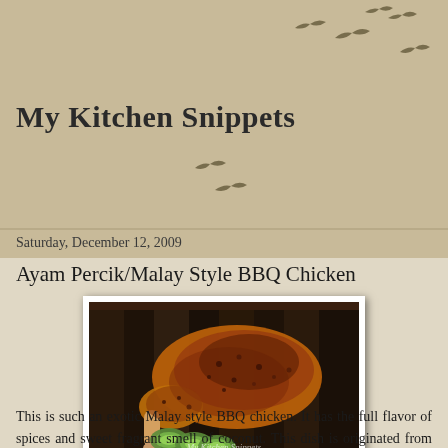My Kitchen Snippets
Saturday, December 12, 2009
Ayam Percik/Malay Style BBQ Chicken
[Figure (photo): BBQ chicken leg quarter with spice rub served on a dark tray with sliced cucumber garnish. Watermark reads 'My Kitchen Snippets'.]
This is such an exotic Malay style BBQ chicken. It has the full flavor of spices and sweet fragrant smell of coconut. This dish is originated from Kelantan, a beautiful state in the